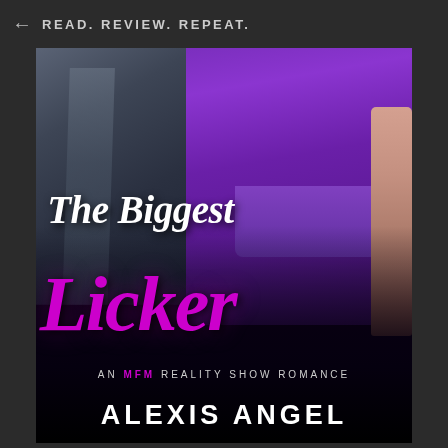READ. REVIEW. REPEAT.
[Figure (illustration): Book cover for 'The Biggest Licker' by Alexis Angel. Shows two figures from mid-torso down: a man in a dark suit on the left and a woman in a purple bandage dress on the right, with a bare arm visible on the far right. Dark background fading to black at the bottom.]
The Biggest Licker
AN MFM REALITY SHOW ROMANCE
ALEXIS ANGEL